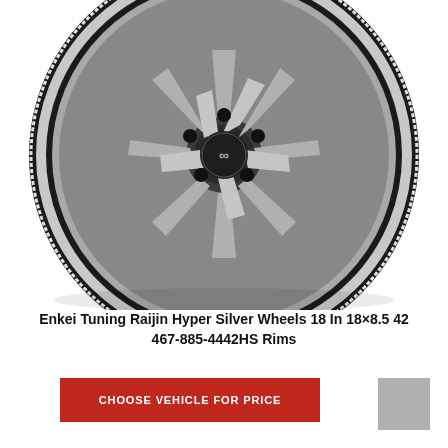[Figure (photo): Enkei Tuning Raijin Hyper Silver multi-spoke alloy wheel photographed at angle on white background, showing silver spokes with black barrel and Enkei center cap logo]
Enkei Tuning Raijin Hyper Silver Wheels 18 In 18×8.5 42 467-885-4442HS Rims
CHOOSE VEHICLE FOR PRICE